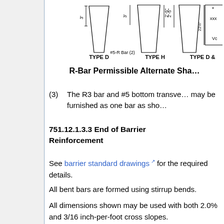[Figure (engineering-diagram): Engineering diagram showing R-Bar cross-section shapes: TYPE D, TYPE H, TYPE D & (partial), depicting rebar configurations with dimensions like 3', 2'-5", 22½", #5-R Bar (2)]
R-Bar Permissible Alternate Sha...
(3) The R3 bar and #5 bottom transve... may be furnished as one bar as sho...
751.12.1.3.3 End of Barrier Reinforcement
See barrier standard drawings for the required details.
All bent bars are formed using stirrup bends.
All dimensions shown may be used with both 2.0% and 3/16 inch-per-foot cross slopes.